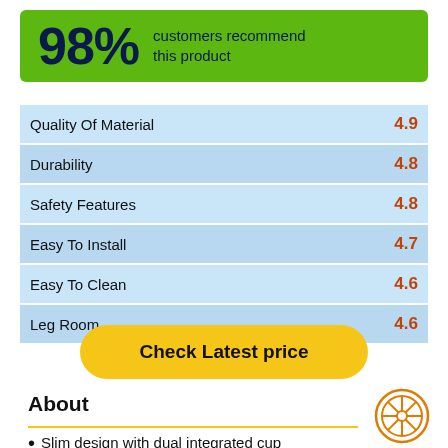[Figure (infographic): Green banner showing 98% customers recommend this product]
| Category | Score |
| --- | --- |
| Quality Of Material | 4.9 |
| Durability | 4.8 |
| Safety Features | 4.8 |
| Easy To Install | 4.7 |
| Easy To Clean | 4.6 |
| Leg Room | 4.6 |
Check Latest price
About
Slim design with dual integrated cup